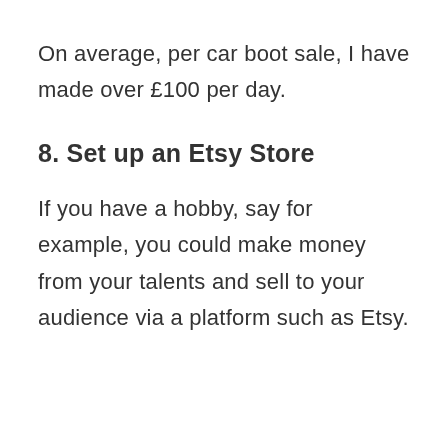On average, per car boot sale, I have made over £100 per day.
8. Set up an Etsy Store
If you have a hobby, say for example, you could make money from your talents and sell to your audience via a platform such as Etsy.